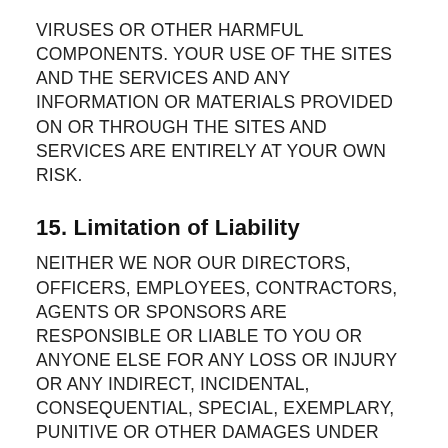VIRUSES OR OTHER HARMFUL COMPONENTS. YOUR USE OF THE SITES AND THE SERVICES AND ANY INFORMATION OR MATERIALS PROVIDED ON OR THROUGH THE SITES AND SERVICES ARE ENTIRELY AT YOUR OWN RISK.
15. Limitation of Liability
NEITHER WE NOR OUR DIRECTORS, OFFICERS, EMPLOYEES, CONTRACTORS, AGENTS OR SPONSORS ARE RESPONSIBLE OR LIABLE TO YOU OR ANYONE ELSE FOR ANY LOSS OR INJURY OR ANY INDIRECT, INCIDENTAL, CONSEQUENTIAL, SPECIAL, EXEMPLARY, PUNITIVE OR OTHER DAMAGES UNDER ANY CONTRACT, NEGLIGENCE, STRICT LIABILITY OR OTHER THEORY ARISING OUT OF OR RELATING IN ANY WAY TO (i) THE USE OF OR